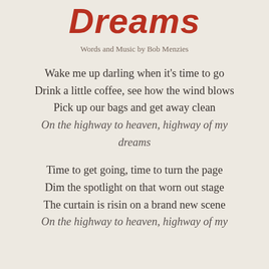Dreams
Words and Music by Bob Menzies
Wake me up darling when it's time to go
Drink a little coffee, see how the wind blows
Pick up our bags and get away clean
On the highway to heaven, highway of my dreams
Time to get going, time to turn the page
Dim the spotlight on that worn out stage
The curtain is risin on a brand new scene
On the highway to heaven, highway of my